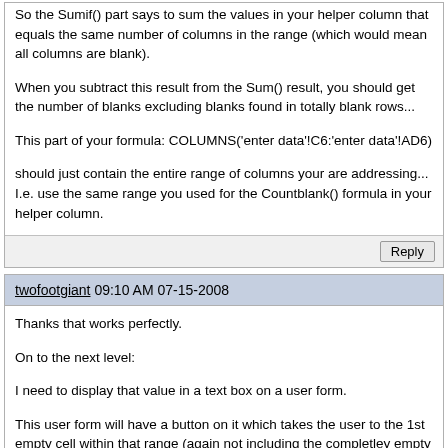So the Sumif() part says to sum the values in your helper column that equals the same number of columns in the range (which would mean all columns are blank).
When you subtract this result from the Sum() result, you should get the number of blanks excluding blanks found in totally blank rows...
This part of your formula: COLUMNS('enter data'!C6:'enter data'!AD6)
should just contain the entire range of columns your are addressing... I.e. use the same range you used for the Countblank() formula in your helper column.
Reply
twofootgiant 09:10 AM 07-15-2008
Thanks that works perfectly.
On to the next level:
I need to display that value in a text box on a user form.
This user form will have a button on it which takes the user to the 1st empty cell within that range (again not including the completley empty rows)
any idea how to do these?